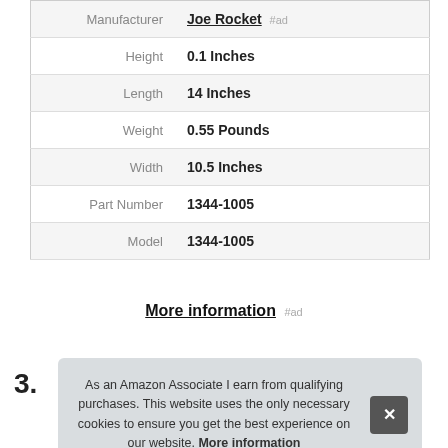| Attribute | Value |
| --- | --- |
| Manufacturer | Joe Rocket #ad |
| Height | 0.1 Inches |
| Length | 14 Inches |
| Weight | 0.55 Pounds |
| Width | 10.5 Inches |
| Part Number | 1344-1005 |
| Model | 1344-1005 |
More information #ad
3.
As an Amazon Associate I earn from qualifying purchases. This website uses the only necessary cookies to ensure you get the best experience on our website. More information